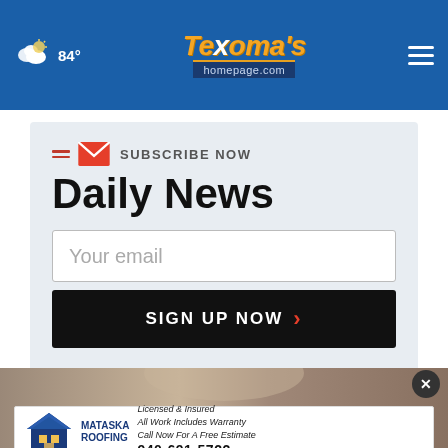84° Texoma's homepage.com
SUBSCRIBE NOW
Daily News
Your email
SIGN UP NOW
[Figure (photo): Bottom strip showing a person photo]
[Figure (infographic): Mataska Roofing advertisement - Licensed & Insured, All Work Includes Warranty, Call Now For A Free Estimate, 940-691-5722]